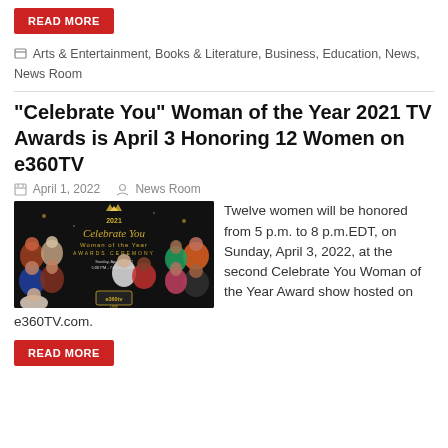READ MORE
Arts & Entertainment, Books & Literature, Business, Education, News, News Room
“Celebrate You” Woman of the Year 2021 TV Awards is April 3 Honoring 12 Women on e360TV
April 1, 2022   News Room
[Figure (photo): Promotional image for 2021 Celebrate You Woman of the Year Awards Ceremony on e360TV LIVE, showing 12 women honorees on a dark background with gold decorative text.]
Twelve women will be honored from 5 p.m. to 8 p.m.EDT, on Sunday, April 3, 2022, at the second Celebrate You Woman of the Year Award show hosted on e360TV.com.
READ MORE